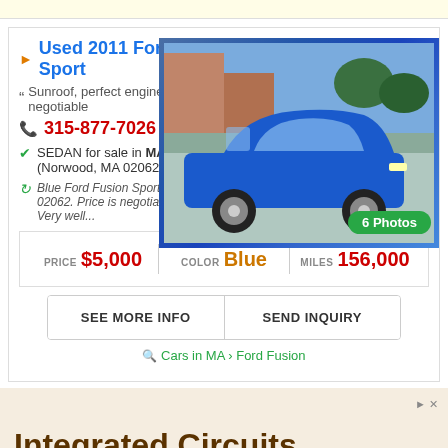Used 2011 Ford Fusion Sport
Sunroof, perfect engine, no issues, negotiable
315-877-7026
SEDAN for sale in MASSACHUSETTS (Norwood, MA 02062) by Owner
Blue Ford Fusion Sport '11 for $5K in MA 02062. Price is negotiable within reason. Very well...
[Figure (photo): Blue 2011 Ford Fusion Sport car photo]
PRICE $5,000 | COLOR Blue | MILES 156,000
SEE MORE INFO | SEND INQUIRY
Cars in MA > Ford Fusion
Integrated Circuits Supplier
Kynix